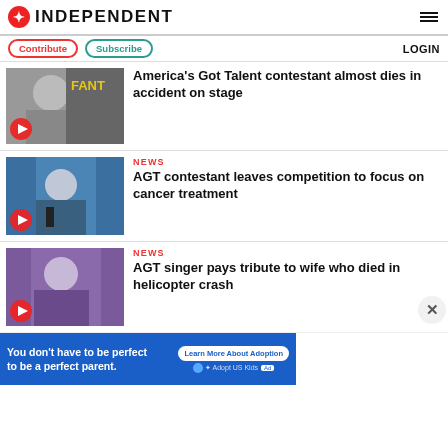INDEPENDENT
Contribute  Subscribe  LOGIN
[Figure (photo): A bald man in front of a FANTA backdrop with a red play button overlay]
America's Got Talent contestant almost dies in accident on stage
[Figure (photo): A woman singing into a microphone on a blue-lit stage with a red play button overlay]
NEWS
AGT contestant leaves competition to focus on cancer treatment
[Figure (photo): A man in front of purple-lit background with a red play button overlay]
NEWS
AGT singer pays tribute to wife who died in helicopter crash
[Figure (infographic): Advertisement banner: You don't have to be perfect to be a perfect parent. Learn More About Adoption. Adopt US Kids.]